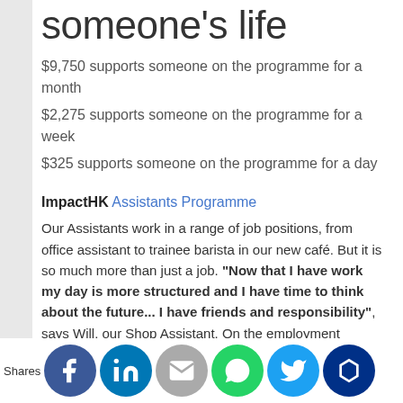someone's life
$9,750 supports someone on the programme for a month
$2,275 supports someone on the programme for a week
$325 supports someone on the programme for a day
ImpactHK Assistants Programme
Our Assistants work in a range of job positions, from office assistant to trainee barista in our new café. But it is so much more than just a job. "Now that I have work my day is more structured and I have time to think about the future... I have friends and responsibility", says Will, our Shop Assistant. On the employment programme, participants can discover their hopes and dreams, learn new skills in a range of classes, receive on-the-job training and get strong once more. Our Assistants also give back to the community, helping others who are still sleeping on the streets. "Through my work, I can help our charity. And at... tua... ns... t I... p o... sa... eome... Com... y Ce... Assist...
Shares [social sharing buttons: Facebook, LinkedIn, Email, WhatsApp, Twitter, Crown]